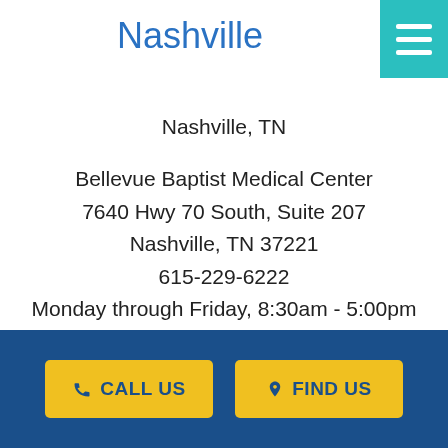Nashville
Nashville, TN
Bellevue Baptist Medical Center
7640 Hwy 70 South, Suite 207
Nashville, TN 37221
615-229-6222
Monday through Friday, 8:30am - 5:00pm
GET DIRECTIONS
Nashville, TN
Skyline Medical Center